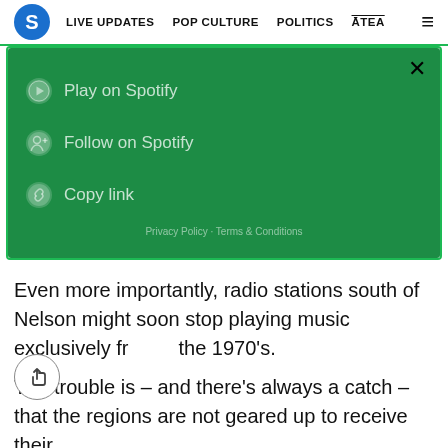S  LIVE UPDATES  POP CULTURE  POLITICS  ĀTEA  ≡
[Figure (screenshot): Spotify embedded widget with green background showing options: Play on Spotify, Follow on Spotify, Copy link, Privacy Policy · Terms & Conditions, with an X close button in the top right]
Even more importantly, radio stations south of Nelson might soon stop playing music exclusively from the 1970's.
The trouble is – and there's always a catch – that the regions are not geared up to receive their